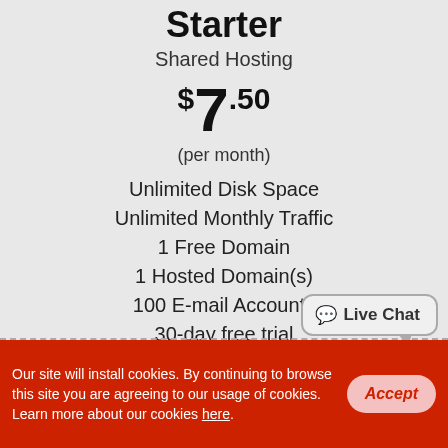Starter
Shared Hosting
$7.50
(per month)
Unlimited Disk Space
Unlimited Monthly Traffic
1 Free Domain
1 Hosted Domain(s)
100 E-mail Accounts
30-day free trial
Full plan details
Start Free Trial
Live Chat
Our site will install cookies. By continuing to browse this site you are agreeing to our usage of cookies. Learn more about our cookies here.